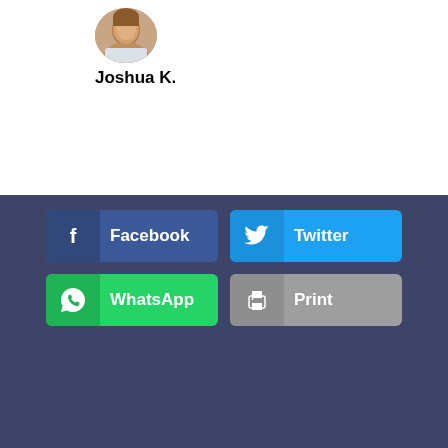[Figure (photo): Circular avatar/profile photo of Joshua K., a person shown from shoulders up]
Joshua K.
[Figure (infographic): Social share buttons: Facebook (dark blue), Twitter (light blue), WhatsApp (green), Print (gray)]
By clicking “Accept All Cookies”, you agree to the storing of cookies on your device to enhance site navigation, analyze site usage, and assist in our marketing efforts. You can always opt-out if you wish.
Accept
X